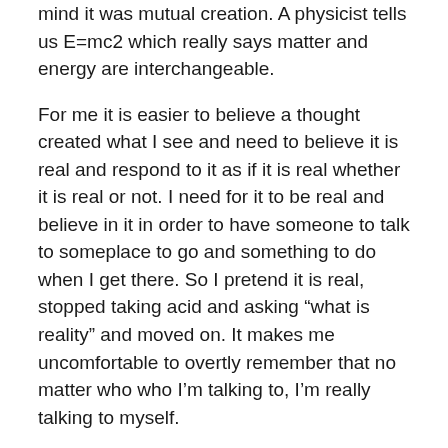mind it was mutual creation. A physicist tells us E=mc2 which really says matter and energy are interchangeable.
For me it is easier to believe a thought created what I see and need to believe it is real and respond to it as if it is real whether it is real or not. I need for it to be real and believe in it in order to have someone to talk to someplace to go and something to do when I get there. So I pretend it is real, stopped taking acid and asking “what is reality” and moved on. It makes me uncomfortable to overtly remember that no matter who who I’m talking to, I’m really talking to myself.
The best thing to do is enjoy the show and try not to see through the illusion.